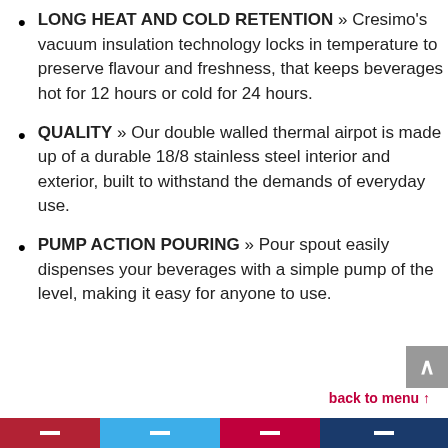LONG HEAT AND COLD RETENTION » Cresimo's vacuum insulation technology locks in temperature to preserve flavour and freshness, that keeps beverages hot for 12 hours or cold for 24 hours.
QUALITY » Our double walled thermal airpot is made up of a durable 18/8 stainless steel interior and exterior, built to withstand the demands of everyday use.
PUMP ACTION POURING » Pour spout easily dispenses your beverages with a simple pump of the level, making it easy for anyone to use.
back to menu ↑